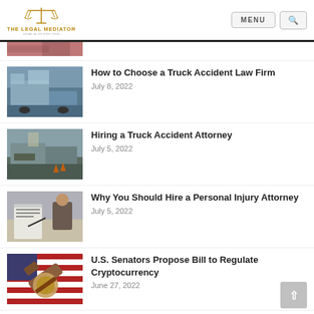THE LEGAL MEDIATOR
[Figure (photo): Partial image of an article at the top, cropped]
How to Choose a Truck Accident Law Firm
July 8, 2022
[Figure (photo): Cement truck on a highway road]
Hiring a Truck Accident Attorney
July 5, 2022
[Figure (photo): Truck accident scene on road with emergency cones]
Why You Should Hire a Personal Injury Attorney
July 5, 2022
[Figure (photo): Person signing legal document with another person across the desk]
U.S. Senators Propose Bill to Regulate Cryptocurrency
June 27, 2022
[Figure (photo): Judge gavel on American flag background]
Costs of Hiring a Car Accident Lawyer
[Figure (photo): Person with head in hands next to a damaged car]